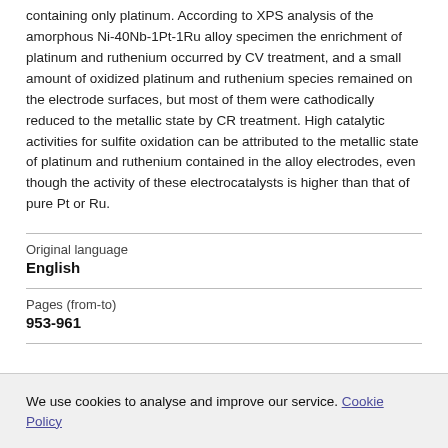containing only platinum. According to XPS analysis of the amorphous Ni-40Nb-1Pt-1Ru alloy specimen the enrichment of platinum and ruthenium occurred by CV treatment, and a small amount of oxidized platinum and ruthenium species remained on the electrode surfaces, but most of them were cathodically reduced to the metallic state by CR treatment. High catalytic activities for sulfite oxidation can be attributed to the metallic state of platinum and ruthenium contained in the alloy electrodes, even though the activity of these electrocatalysts is higher than that of pure Pt or Ru.
| Original language |  |
| English |  |
| Pages (from-to) |  |
| 953-961 |  |
We use cookies to analyse and improve our service. Cookie Policy